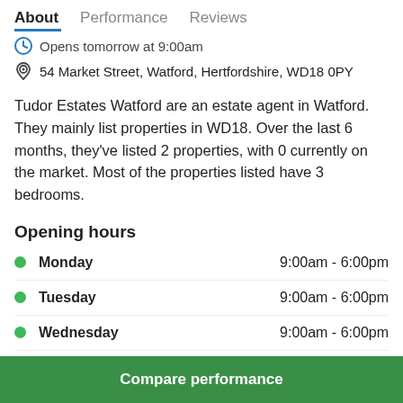About  Performance  Reviews
Opens tomorrow at 9:00am
54 Market Street, Watford, Hertfordshire, WD18 0PY
Tudor Estates Watford are an estate agent in Watford. They mainly list properties in WD18. Over the last 6 months, they've listed 2 properties, with 0 currently on the market. Most of the properties listed have 3 bedrooms.
Opening hours
Monday  9:00am - 6:00pm
Tuesday  9:00am - 6:00pm
Wednesday  9:00am - 6:00pm
Thursday  9:00am - 6:00pm
Friday  9:00am - 6:00pm
Compare performance